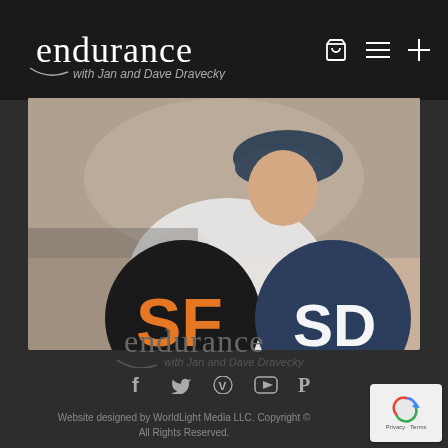endurance with Jan and Dave Dravecky
[Figure (photo): A baseball pitcher in a white uniform mid-pitch, with San Francisco Giants and San Diego Padres team logos overlapping below]
[Figure (logo): Endurance with Jan and Dave Dravecky footer logo in gray]
Website designed by WorldLight Media LLC. Copyright © All Rights Reserved.